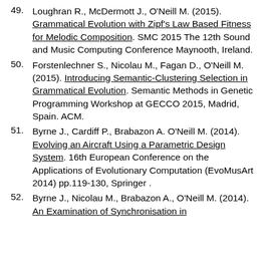49. Loughran R., McDermott J., O'Neill M. (2015). Grammatical Evolution with Zipf's Law Based Fitness for Melodic Composition. SMC 2015 The 12th Sound and Music Computing Conference Maynooth, Ireland.
50. Forstenlechner S., Nicolau M., Fagan D., O'Neill M. (2015). Introducing Semantic-Clustering Selection in Grammatical Evolution. Semantic Methods in Genetic Programming Workshop at GECCO 2015, Madrid, Spain. ACM.
51. Byrne J., Cardiff P., Brabazon A. O'Neill M. (2014). Evolving an Aircraft Using a Parametric Design System. 16th European Conference on the Applications of Evolutionary Computation (EvoMusArt 2014) pp.119-130, Springer.
52. Byrne J., Nicolau M., Brabazon A., O'Neill M. (2014). An Examination of Synchronisation in